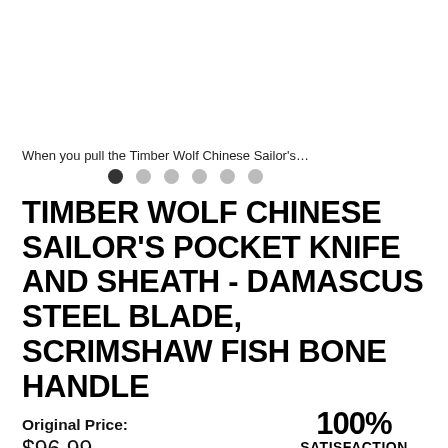[Figure (photo): Product image placeholder area (white space at top of page)]
When you pull the Timber Wolf Chinese Sailor's…
[Figure (other): Carousel navigation dots — one filled dark dot followed by five lighter dots]
TIMBER WOLF CHINESE SAILOR'S POCKET KNIFE AND SHEATH - DAMASCUS STEEL BLADE, SCRIMSHAW FISH BONE HANDLE
Original Price:
$96.99
Discount Price:
[Figure (logo): 100% SATISFACTION GUARANTEE badge in bold black text]